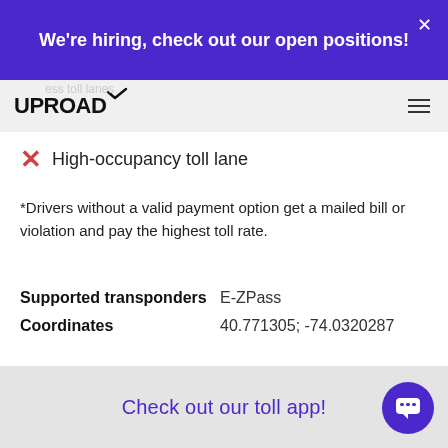We're hiring, check out our open positions!
[Figure (logo): UPROAD logo with bird checkmark]
✗ High-occupancy toll lane
*Drivers without a valid payment option get a mailed bill or violation and pay the highest toll rate.
|  |  |
| --- | --- |
| Supported transponders | E-ZPass |
| Coordinates | 40.771305; -74.0320287 |
Check out our toll app!